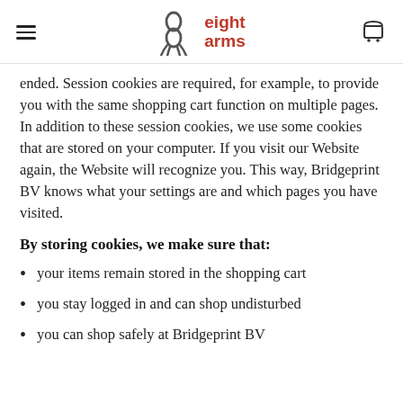eight arms
ended. Session cookies are required, for example, to provide you with the same shopping cart function on multiple pages. In addition to these session cookies, we use some cookies that are stored on your computer. If you visit our Website again, the Website will recognize you. This way, Bridgeprint BV knows what your settings are and which pages you have visited.
By storing cookies, we make sure that:
your items remain stored in the shopping cart
you stay logged in and can shop undisturbed
you can shop safely at Bridgeprint BV